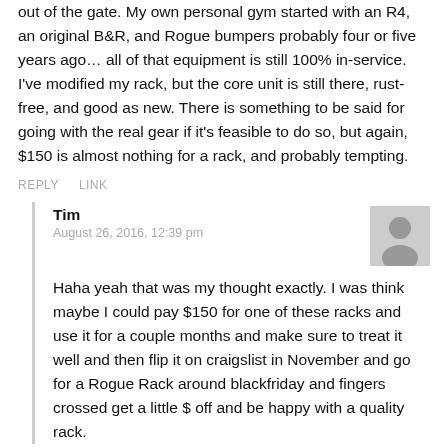out of the gate. My own personal gym started with an R4, an original B&R, and Rogue bumpers probably four or five years ago… all of that equipment is still 100% in-service. I've modified my rack, but the core unit is still there, rust-free, and good as new. There is something to be said for going with the real gear if it's feasible to do so, but again, $150 is almost nothing for a rack, and probably tempting.
REPLY   LINK
Tim
August 26, 2016, 12:39 pm
Haha yeah that was my thought exactly. I was think maybe I could pay $150 for one of these racks and use it for a couple months and make sure to treat it well and then flip it on craigslist in November and go for a Rogue Rack around blackfriday and fingers crossed get a little $ off and be happy with a quality rack.